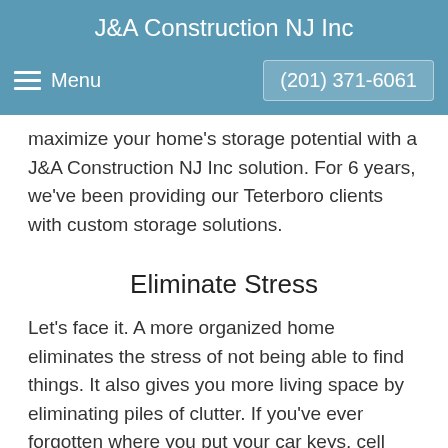J&A Construction NJ Inc
Menu  (201) 371-6061
maximize your home's storage potential with a J&A Construction NJ Inc solution. For 6 years, we've been providing our Teterboro clients with custom storage solutions.
Eliminate Stress
Let's face it. A more organized home eliminates the stress of not being able to find things. It also gives you more living space by eliminating piles of clutter. If you've ever forgotten where you put your car keys, cell phone, or pocketbook, we can organize your entryway to make coming and going a breeze. If your living room looks more like a "Romper Room," we can help find a place for all the